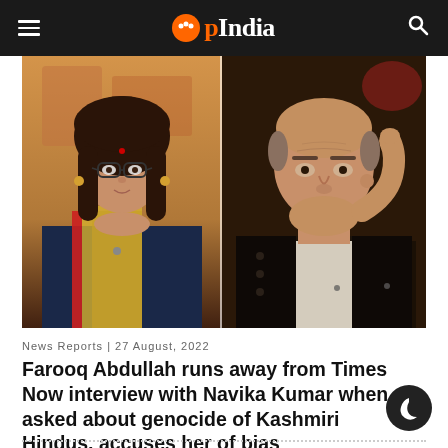OpIndia
[Figure (photo): Split screen showing a female news anchor (Navika Kumar) on the left side wearing glasses and traditional Indian attire, and an elderly man (Farooq Abdullah) on the right side in a dark jacket, touching his chin with his hand. Television interview setting.]
News Reports | 27 August, 2022
Farooq Abdullah runs away from Times Now interview with Navika Kumar when asked about genocide of Kashmiri Hindus, accuses her of bias